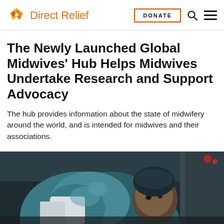Direct Relief | DONATE
The Newly Launched Global Midwives' Hub Helps Midwives Undertake Research and Support Advocacy
The hub provides information about the state of midwifery around the world, and is intended for midwives and their associations.
[Figure (photo): A person wearing a teal/blue jacket and white garment, appearing to be a midwife or healthcare worker, photographed from a low angle.]